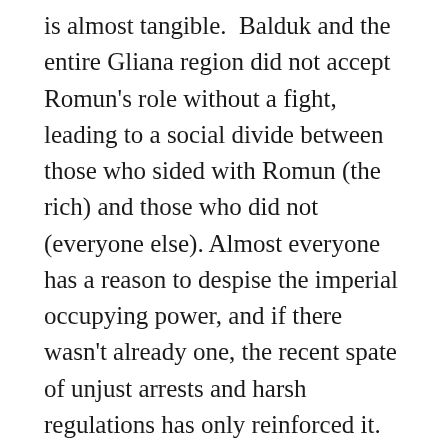is almost tangible.  Balduk and the entire Gliana region did not accept Romun's role without a fight, leading to a social divide between those who sided with Romun (the rich) and those who did not (everyone else). Almost everyone has a reason to despise the imperial occupying power, and if there wasn't already one, the recent spate of unjust arrests and harsh regulations has only reinforced it. Of course, Ys IXis not always disgusted by such stories. Nevertheless, Balduk's problems make Monstrum and Adol's missions much more personal and important than usual. It also improves rhythm. Earlier games, including Ys VIII, start much slower and build towards the end. There is always at least one great thread here to